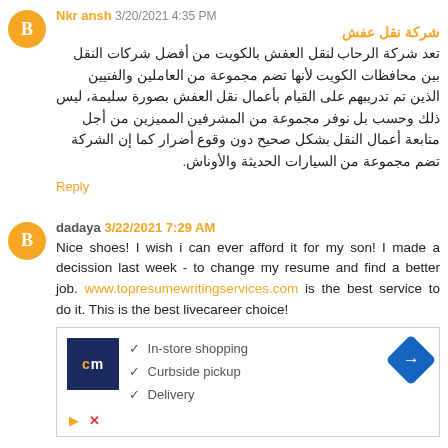Nkr ansh 3/20/2021 4:35 PM
شركة نقل عفش
تعد شركة الرحاب لنقل العفش بالكويت من أفضل شركات النقل بين محافظات الكويت لأنها تضم مجموعة من العاملين والفنيين الذين تم تدريبهم على القيام بأعمال نقل العفش بصورة سليمة، ليس ذلك وحسب بل نوفر مجموعة من المشرفين المميزين من أجل متابعة أعمال النقل بشكل صحيح دون وقوع أضرار كما إن الشركة تضم مجموعة من السيارات الحديثة والأوناش.
Reply
dadaya 3/22/2021 7:29 AM
Nice shoes! I wish i can ever afford it for my son! I made a decission last week - to change my resume and find a better job. www.topresumewritingservices.com is the best service to do it. This is the best livecareer choice!
[Figure (infographic): Advertisement box with CM logo, navigation icon, and a list: In-store shopping, Curbside pickup, Delivery]